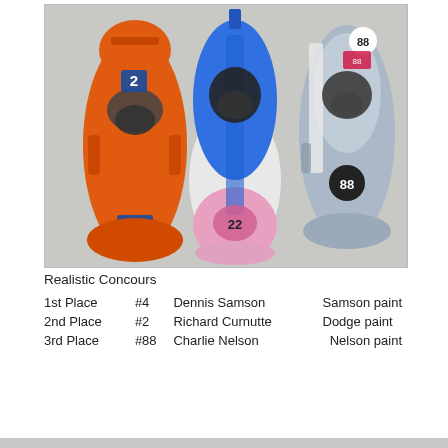[Figure (photo): Three die-cast/slot racing car models arranged side by side on a gray surface. From left: orange car with #2, center: blue/white/pink car with #22, right: light gray car with #88.]
Realistic Concours
| 1st Place | #4 | Dennis Samson | Samson paint |
| 2nd Place | #2 | Richard Curnutte | Dodge paint |
| 3rd Place | #88 | Charlie Nelson | Nelson paint |